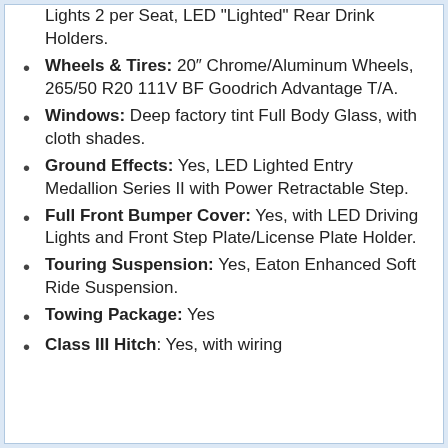Lights 2 per Seat, LED "Lighted" Rear Drink Holders.
Wheels & Tires: 20" Chrome/Aluminum Wheels, 265/50 R20 111V BF Goodrich Advantage T/A.
Windows: Deep factory tint Full Body Glass, with cloth shades.
Ground Effects: Yes, LED Lighted Entry Medallion Series II with Power Retractable Step.
Full Front Bumper Cover: Yes, with LED Driving Lights and Front Step Plate/License Plate Holder.
Touring Suspension: Yes, Eaton Enhanced Soft Ride Suspension.
Towing Package: Yes
Class III Hitch: Yes, with wiring